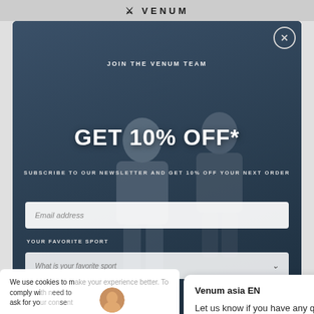VENUM
JOIN THE VENUM TEAM
GET 10% OFF*
SUBSCRIBE TO OUR NEWSLETTER AND GET 10% OFF YOUR NEXT ORDER
Email address
YOUR FAVORITE SPORT
What is your favorite sport
We use cookies to make your experience better. To comply with the new e-Privacy directive, we need to ask for your consent to set the cookies.
Allow cookies
Venum asia EN
Let us know if you have any questions! 😊